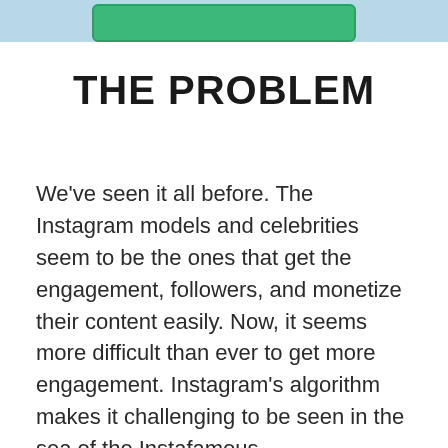[Figure (other): Light blue banner at top of page with a green rounded rectangle button partially visible]
THE PROBLEM
We've seen it all before. The Instagram models and celebrities seem to be the ones that get the engagement, followers, and monetize their content easily. Now, it seems more difficult than ever to get more engagement. Instagram's algorithm makes it challenging to be seen in the sea of the Instafamous.